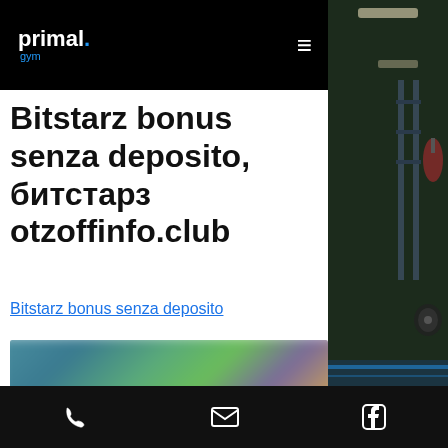primal. gym
Bitstarz bonus senza deposito, битстарз otzoffinfo.club
Bitstarz bonus senza deposito
[Figure (photo): Blurred screenshot of a gaming/casino website interface with colorful characters]
Phone | Email | Facebook icons